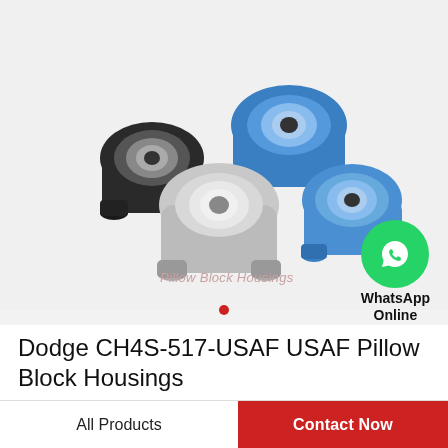[Figure (photo): Group of pillow block housing bearings in black, blue/teal, and silver/aluminum colors arranged together, showing various sizes and styles of bearing housings with mounted bearings.]
Pillow Block Housings
[Figure (logo): WhatsApp green circle icon with phone handset graphic, labeled 'WhatsApp Online' in bold black text below.]
Dodge CH4S-517-USAF USAF Pillow Block Housings
All Products
Contact Now